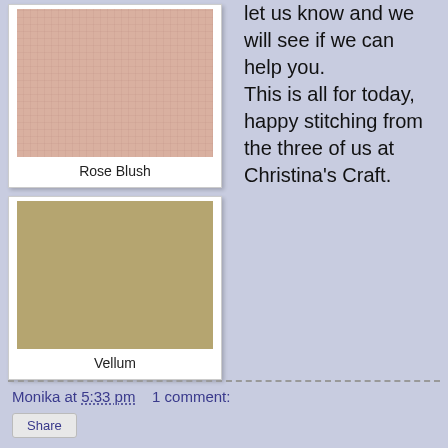[Figure (photo): Rose Blush fabric/paper swatch - a pink textured grid pattern]
Rose Blush
[Figure (photo): Vellum fabric/paper swatch - a tan/olive colored plain texture]
Vellum
let us know and we will see if we can help you. This is all for today, happy stitching from the three of us at Christina's Craft.
Monika at 5:33 pm    1 comment:
Share